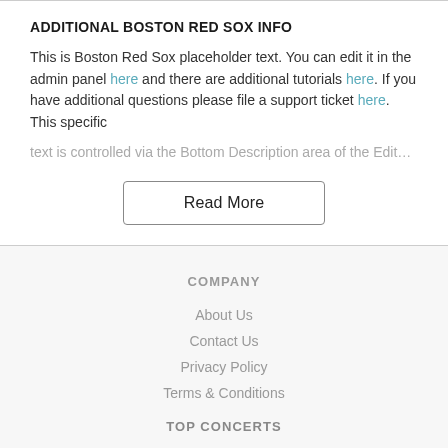ADDITIONAL BOSTON RED SOX INFO
This is Boston Red Sox placeholder text. You can edit it in the admin panel here and there are additional tutorials here. If you have additional questions please file a support ticket here. This specific text is controlled via the Bottom Description area of the Edit…
Read More
COMPANY
About Us
Contact Us
Privacy Policy
Terms & Conditions
TOP CONCERTS